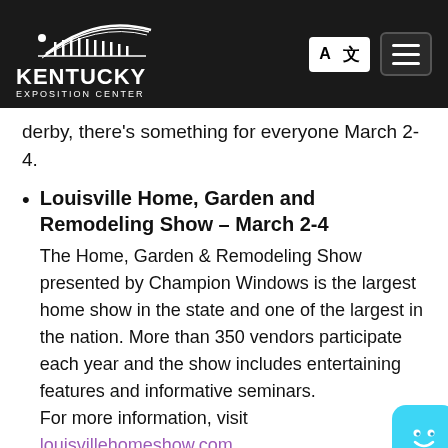Kentucky Exposition Center
derby, there's something for everyone March 2-4.
Louisville Home, Garden and Remodeling Show – March 2-4
The Home, Garden & Remodeling Show presented by Champion Windows is the largest home show in the state and one of the largest in the nation. More than 350 vendors participate each year and the show includes entertaining features and informative seminars.
For more information, visit louisvillehomeshow.com.